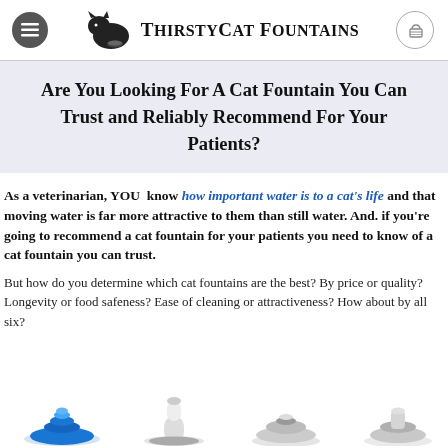ThirstyCat Fountains
Are You Looking For A Cat Fountain You Can Trust and Reliably Recommend For Your Patients?
As a veterinarian, YOU know how important water is to a cat's life and that moving water is far more attractive to them than still water. And. if you're going to recommend a cat fountain for your patients you need to know of a cat fountain you can trust.
But how do you determine which cat fountains are the best? By price or quality? Longevity or food safeness? Ease of cleaning or attractiveness? How about by all six?
[Figure (photo): Row of cat fountain product images at the bottom of the page showing four different cat water fountain styles]